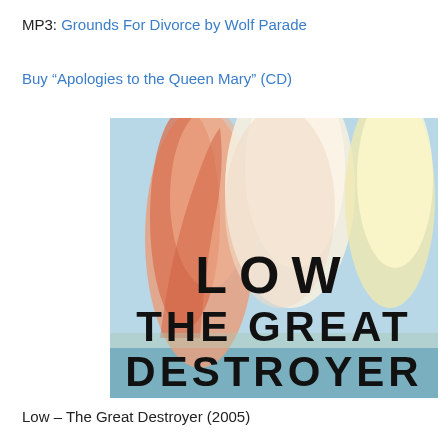MP3: Grounds For Divorce by Wolf Parade
Buy “Apologies to the Queen Mary” (CD)
[Figure (photo): Album cover for 'The Great Destroyer' by Low (2005). A painted/illustrated image showing colorful smoke plumes (orange-red on left, white and yellow on right) rising against a light blue sky with water visible at the bottom. Bold black text reads 'LOW', 'THE GREAT', 'DESTROYER' across the lower portion of the image.]
Low – The Great Destroyer (2005)